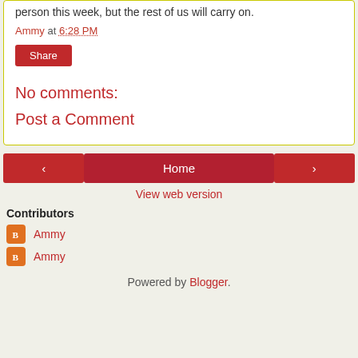person this week, but the rest of us will carry on.
Ammy at 6:28 PM
Share
No comments:
Post a Comment
< Home >
View web version
Contributors
Ammy
Ammy
Powered by Blogger.